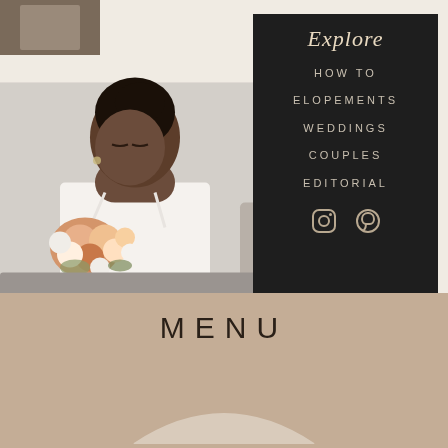[Figure (photo): Bride holding a bouquet of peach and white roses, wearing a white dress, looking down, with braided hair, against a white brick wall background]
Explore
HOW TO
ELOPEMENTS
WEDDINGS
COUPLES
EDITORIAL
[Figure (logo): Instagram and Pinterest social media icons in outline style, light color on dark background]
MENU